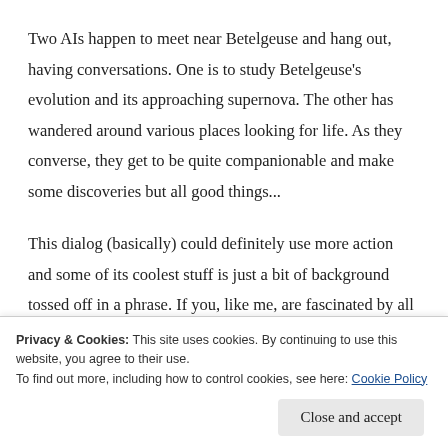Two AIs happen to meet near Betelgeuse and hang out, having conversations. One is to study Betelgeuse's evolution and its approaching supernova. The other has wandered around various places looking for life. As they converse, they get to be quite companionable and make some discoveries but all good things...
This dialog (basically) could definitely use more action and some of its coolest stuff is just a bit of background tossed off in a phrase. If you, like me, are fascinated by all things astronomical and stellar evolutionary this may just hold
Privacy & Cookies: This site uses cookies. By continuing to use this website, you agree to their use.
To find out more, including how to control cookies, see here: Cookie Policy
Close and accept